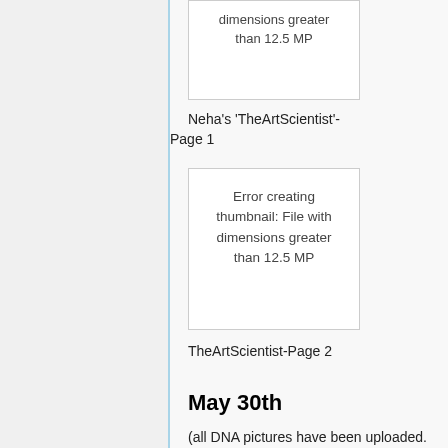[Figure (other): Thumbnail error box at top: Error creating thumbnail: File with dimensions greater than 12.5 MP]
Neha's 'TheArtScientist'- Page 1
[Figure (other): Thumbnail error box: Error creating thumbnail: File with dimensions greater than 12.5 MP]
TheArtScientist-Page 2
May 30th
(all DNA pictures have been uploaded.